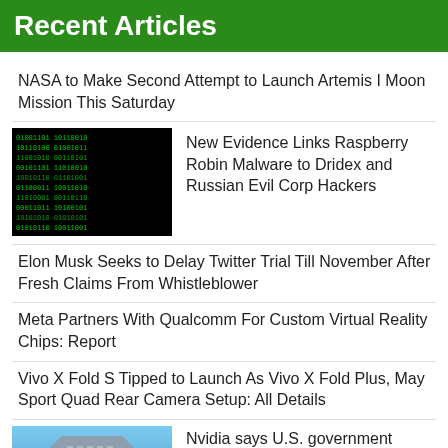Recent Articles
NASA to Make Second Attempt to Launch Artemis I Moon Mission This Saturday
New Evidence Links Raspberry Robin Malware to Dridex and Russian Evil Corp Hackers
Elon Musk Seeks to Delay Twitter Trial Till November After Fresh Claims From Whistleblower
Meta Partners With Qualcomm For Custom Virtual Reality Chips: Report
Vivo X Fold S Tipped to Launch As Vivo X Fold Plus, May Sport Quad Rear Camera Setup: All Details
Nvidia says U.S. government allows A.I. chip development in China